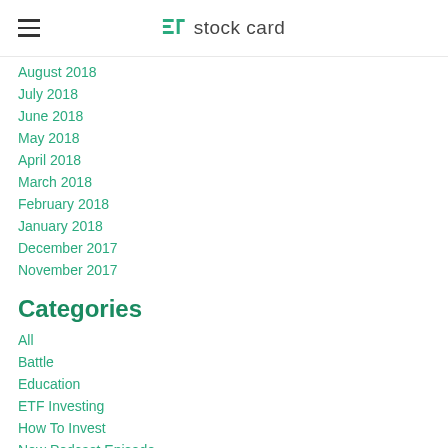stock card
August 2018
July 2018
June 2018
May 2018
April 2018
March 2018
February 2018
January 2018
December 2017
November 2017
Categories
All
Battle
Education
ETF Investing
How To Invest
New Podcast Episode